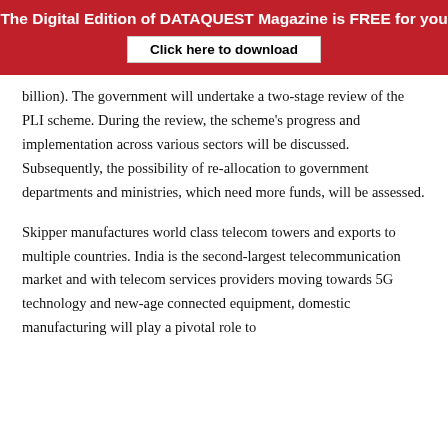The Digital Edition of DATAQUEST Magazine is FREE for you
Click here to download
billion). The government will undertake a two-stage review of the PLI scheme. During the review, the scheme's progress and implementation across various sectors will be discussed. Subsequently, the possibility of re-allocation to government departments and ministries, which need more funds, will be assessed.
Skipper manufactures world class telecom towers and exports to multiple countries. India is the second-largest telecommunication market and with telecom services providers moving towards 5G technology and new-age connected equipment, domestic manufacturing will play a pivotal role to